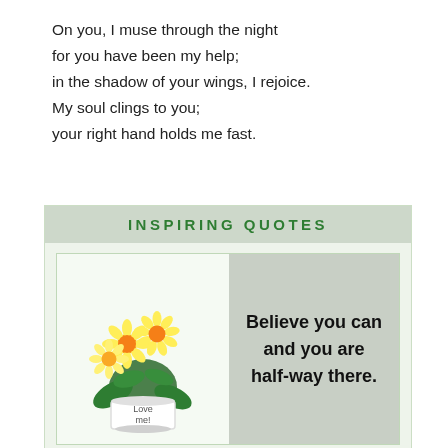On you, I muse through the night
for you have been my help;
in the shadow of your wings, I rejoice.
My soul clings to you;
your right hand holds me fast.
[Figure (infographic): An infographic box titled 'INSPIRING QUOTES' with a light green background. On the left side is a photograph of yellow daisy flowers in a white pot labeled 'Love me!'. On the right side is a grey box with bold text reading 'Believe you can and you are half-way there.']